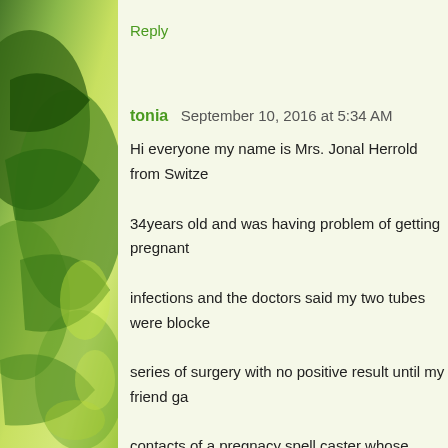Reply
tonia  September 10, 2016 at 5:34 AM
Hi everyone my name is Mrs. Jonal Herrold from Switze... 34years old and was having problem of getting pregnant ... infections and the doctors said my two tubes were blocke... series of surgery with no positive result until my friend ga... contacts of a pregnacy spell caster whose name is Prophe... the story short i contacted the spell caster because i was c... i did all she asked me to do and between 3months of her c... pregnancy spell I check with the doctore and I found out ... 5weeks pregnant now am in my 7th month so I am glad a...